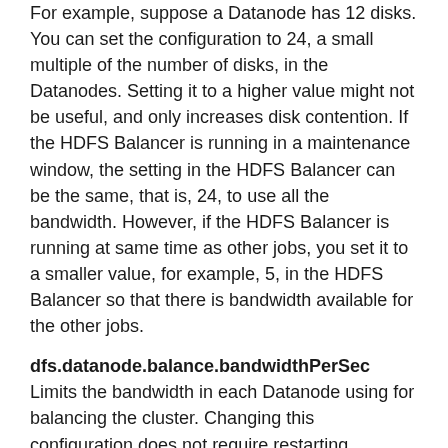For example, suppose a Datanode has 12 disks. You can set the configuration to 24, a small multiple of the number of disks, in the Datanodes. Setting it to a higher value might not be useful, and only increases disk contention. If the HDFS Balancer is running in a maintenance window, the setting in the HDFS Balancer can be the same, that is, 24, to use all the bandwidth. However, if the HDFS Balancer is running at same time as other jobs, you set it to a smaller value, for example, 5, in the HDFS Balancer so that there is bandwidth available for the other jobs.
dfs.datanode.balance.bandwidthPerSec Limits the bandwidth in each Datanode using for balancing the cluster. Changing this configuration does not require restarting Datanodes. Use the dfsadmin -setBalancerBandwidth command.